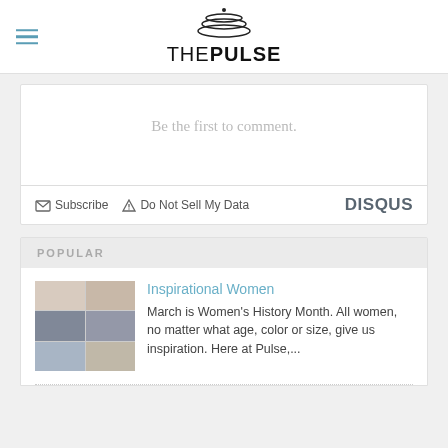THE PULSE
Be the first to comment.
Subscribe   Do Not Sell My Data   DISQUS
POPULAR
Inspirational Women
March is Women's History Month. All women, no matter what age, color or size, give us inspiration. Here at Pulse,...